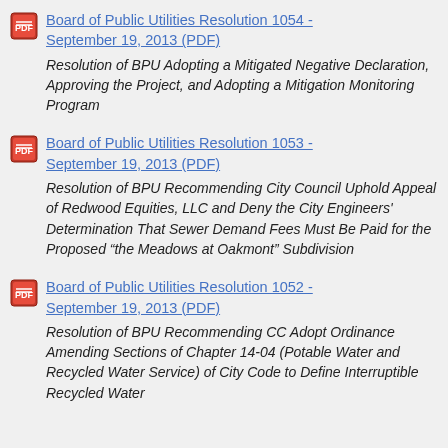Board of Public Utilities Resolution 1054 - September 19, 2013 (PDF)
Resolution of BPU Adopting a Mitigated Negative Declaration, Approving the Project, and Adopting a Mitigation Monitoring Program
Board of Public Utilities Resolution 1053 - September 19, 2013 (PDF)
Resolution of BPU Recommending City Council Uphold Appeal of Redwood Equities, LLC and Deny the City Engineers' Determination That Sewer Demand Fees Must Be Paid for the Proposed “the Meadows at Oakmont” Subdivision
Board of Public Utilities Resolution 1052 - September 19, 2013 (PDF)
Resolution of BPU Recommending CC Adopt Ordinance Amending Sections of Chapter 14-04 (Potable Water and Recycled Water Service) of City Code to Define Interruptible Recycled Water Service and to Add Provisions for Recycled...